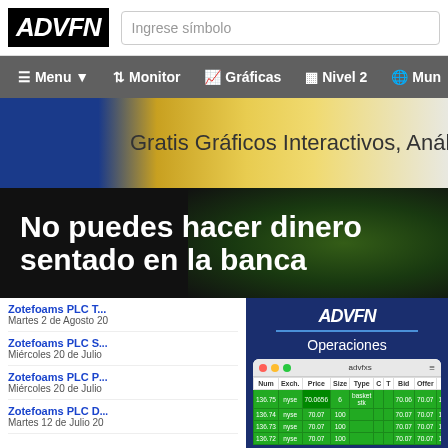[Figure (screenshot): ADVFN website header with logo and search bar showing 'Ingrese símbolo']
[Figure (screenshot): ADVFN navigation bar with Menu, Monitor, Gráficas, Nivel 2, Mun buttons on dark gray background]
[Figure (screenshot): ADVFN banner ad: 'Gratis Gráficos Interactivos, Análisis Técr...' with blue and gold gradient background]
[Figure (screenshot): Sports betting ad with text 'No puedes hacer dinero sentado en la banca' on dark background with sports imagery]
Zotefoams PLC - Martes 2 de Agosto 20...
Zotefoams PLC S - Miércoles 20 de Julio...
Zotefoams PLC P - Miércoles 20 de Julio...
Zotefoams PLC D - Martes 12 de Julio 20...
[Figure (screenshot): ADVFN Operaciones panel showing a trading data table with columns Num, Exch., Price, Size, Type, C, T, Bid, Offer, Tim with green rows of trade data including nyse trades at prices around 70.06-70.07]